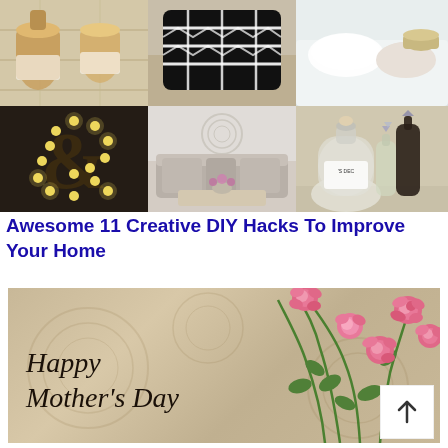[Figure (photo): Collage of 6 home decor photos: wicker baskets, black and white patterned pillow/ottoman, white fluffy sofa corner, illuminated ampersand marquee letter, grey living room with sofa and coffee table, glass bottles/decanters arrangement]
Awesome 11 Creative DIY Hacks To Improve Your Home
[Figure (photo): Happy Mother's Day greeting card with pink roses on beige textured background. Text reads: Happy Mother's Day. White scroll-to-top button with upward arrow in bottom right corner.]